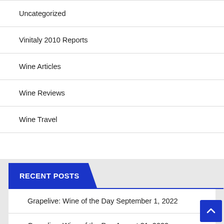Uncategorized
Vinitaly 2010 Reports
Wine Articles
Wine Reviews
Wine Travel
RECENT POSTS
Grapelive: Wine of the Day September 1, 2022
Grapelive: Wine of the Day August 31, 2022